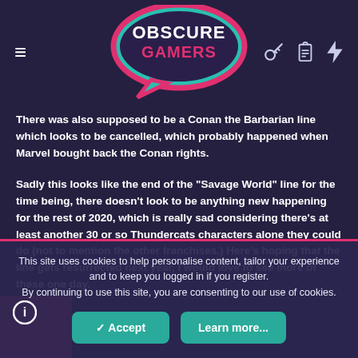[Figure (logo): Obscure Gamers logo — teal speech bubble shape with pink border, white text reading OBSCURE GAMERS]
≡   [key icon] [clipboard icon] [lightning icon]
There was also supposed to be a Conan the Barbarian line which looks to be cancelled, which probably happened when Marvel bought back the Conan rights.
Sadly this looks like the end of the "Savage World" line for the time being, there doesn't look to be anything new happening for the rest of 2020, which is really sad considering there's at least another 30 or so Thundercats characters alone they could do (not to mention the other franchises.) Here's hoping that the line gets resurrected next year, I would love to see more of these one day.
Hawanja
This site uses cookies to help personalise content, tailor your experience and to keep you logged in if you register.
By continuing to use this site, you are consenting to our use of cookies.